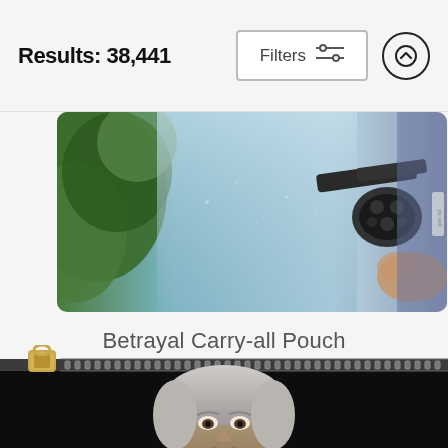Results: 38,441
Filters
[Figure (photo): Top portion of a product listing image showing a dramatic scene with a revolver/gun against a foggy blue background with green foliage on the left edge]
Betrayal Carry-all Pouch
Mario Sanchez Nevado
$25 (strikethrough) $20
[Figure (photo): Bottom portion of page showing a carry-all pouch with a zipper at the top including a gold zipper pull, and below it a classical portrait painting of an elderly man with white/gray hair against a dark background]